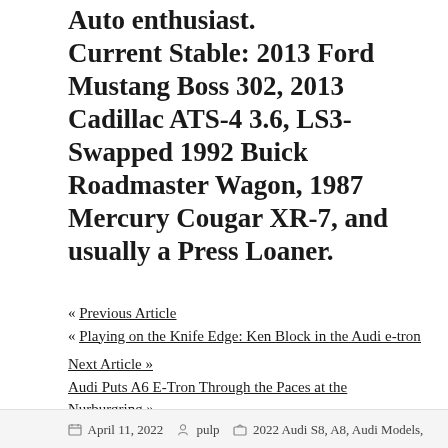Auto enthusiast. Current Stable: 2013 Ford Mustang Boss 302, 2013 Cadillac ATS-4 3.6, LS3-Swapped 1992 Buick Roadmaster Wagon, 1987 Mercury Cougar XR-7, and usually a Press Loaner.
« Previous Article « Playing on the Knife Edge: Ken Block in the Audi e-tron
Next Article » Audi Puts A6 E-Tron Through the Paces at the Nurburgring »
April 11, 2022   pulp   2022 Audi S8, A8, Audi Models,